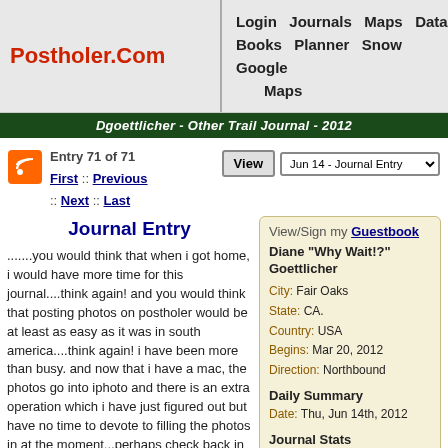Postholer.Com | Login  Journals  Maps  Data  Books  Planner  Snow  Google Maps
Dgoettlicher - Other Trail Journal - 2012
Entry 71 of 71  First :: Previous :: Next :: Last
Journal Entry
.......you would think that when i got home, i would have more time for this journal....think again! and you would think that posting photos on postholer would be at least as easy as it was in south america....think again! i have been more than busy. and now that i have a mac, the photos go into iphoto and there is an extra operation which i have just figured out but have no time to devote to filling the photos in at the moment...perhaps check back in about a month! geez.
View/Sign my Guestbook
Diane "Why Wait!?" Goettlicher
City: Fair Oaks
State: CA.
Country: USA
Begins: Mar 20, 2012
Direction: Northbound
Daily Summary
Date: Thu, Jun 14th, 2012
Journal Stats
Entry Visits: 2,066
Journal Visits: 22,541
Guestbook Views: 746
Guestbook Entrys: 14
anyhow, i want to close the text portion of this journal with a brief